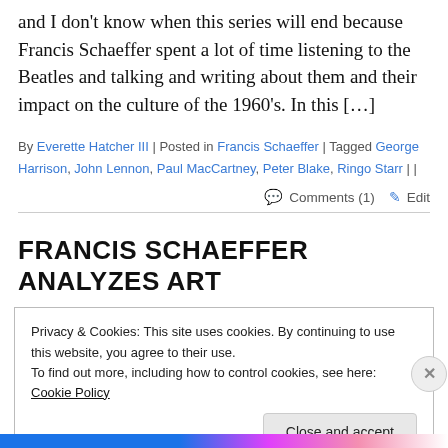and I don't know when this series will end because Francis Schaeffer spent a lot of time listening to the Beatles and talking and writing about them and their impact on the culture of the 1960's. In this […]
By Everette Hatcher III | Posted in Francis Schaeffer | Tagged George Harrison, John Lennon, Paul MacCartney, Peter Blake, Ringo Starr | | Comments (1) Edit
FRANCIS SCHAEFFER ANALYZES ART
Privacy & Cookies: This site uses cookies. By continuing to use this website, you agree to their use.
To find out more, including how to control cookies, see here: Cookie Policy
Close and accept